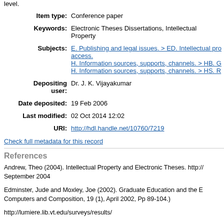level.
| Item type: | Conference paper |
| Keywords: | Electronic Theses Dissertations, Intellectual Property |
| Subjects: | E. Publishing and legal issues. > ED. Intellectual property, open access.
H. Information sources, supports, channels. > HB. G
H. Information sources, supports, channels. > HS. R |
| Depositing user: | Dr. J. K. Vijayakumar |
| Date deposited: | 19 Feb 2006 |
| Last modified: | 02 Oct 2014 12:02 |
| URI: | http://hdl.handle.net/10760/7219 |
Check full metadata for this record
References
Andrew, Theo (2004). Intellectual Property and Electronic Theses. http:// September 2004
Edminster, Jude and Moxley, Joe (2002). Graduate Education and the E Computers and Composition, 19 (1), April 2002, Pp 89-104.)
http://lumiere.lib.vt.edu/surveys/results/
Jin, Yi (2004). The development of the China Networked Digital Library o